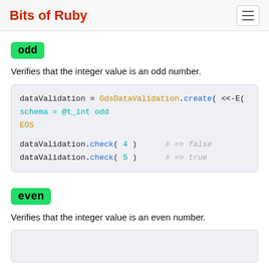Bits of Ruby
odd
Verifies that the integer value is an odd number.
dataValidation = GdsDataValidation.create( <<-E(
schema = @t_int odd
EOS

dataValidation.check( 4 )      # => false
dataValidation.check( 5 )      # => true
even
Verifies that the integer value is an even number.